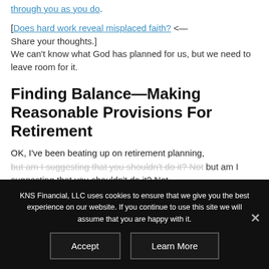[Does hard work reveal misplaced faith? <— Share your thoughts.] We can't know what God has planned for us, but we need to leave room for it.
Finding Balance—Making Reasonable Provisions For Retirement
OK, I've been beating up on retirement planning, but am I suggesting that you shouldn't do it? Not
KNS Financial, LLC uses cookies to ensure that we give you the best experience on our website. If you continue to use this site we will assume that you are happy with it.
Accept
Learn More